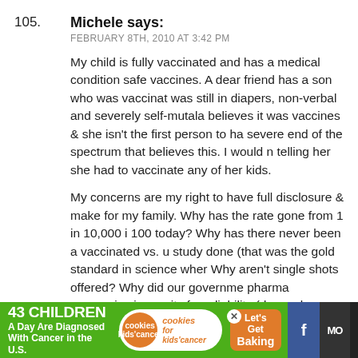105.
Michele says:
FEBRUARY 8TH, 2010 AT 3:42 PM
My child is fully vaccinated and has a medical condition safe vaccines. A dear friend has a son who was vaccinat was still in diapers, non-verbal and severely self-mutala believes it was vaccines & she isn't the first person to ha severe end of the spectrum that believes this. I would n telling her she had to vaccinate any of her kids.
My concerns are my right to have full disclosure & mak for my family. Why has the rate gone from 1 in 10,000 i 100 today? Why has there never been a vaccinated vs. u study done (that was the gold standard in science wher Why aren't single shots offered? Why did our governme pharma companies immunity from liability (do you kno consumer product that carries this kind of government we are relying on the AAP and CDC to tell what is best, everyone required to breastfeed as the AAP says that i
[Figure (infographic): Green advertisement bar at bottom: '43 CHILDREN A Day Are Diagnosed With Cancer in the U.S.' with cookies for kids' cancer logo and 'Let's Get Baking' call to action. Social media icons on the right.]